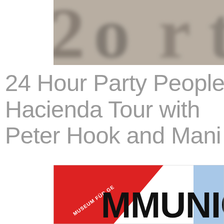[Figure (photo): Top cropped photo showing blurred text/lettering on a stone or metal surface, partially cut off at the right edge.]
24 Hour Party People Hacienda Tour with Peter Hook and Mani
[Figure (photo): Bottom image showing a red diagonal stripe on white background with text 'MUSEUM FÜR GE...' in white on the red stripe, and large black text 'MMUNICAT...' on the white area, with a blue section visible at right.]